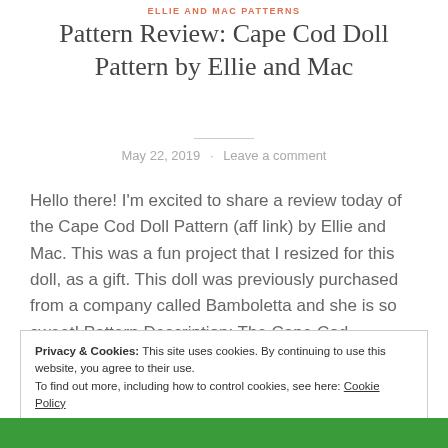ELLIE AND MAC PATTERNS
Pattern Review: Cape Cod Doll Pattern by Ellie and Mac
May 22, 2019 · Leave a comment
Hello there! I'm excited to share a review today of the Cape Cod Doll Pattern (aff link) by Ellie and Mac. This was a fun project that I resized for this doll, as a gift. This doll was previously purchased from a company called Bamboletta and she is so sweet! Pattern Description: The Cape Cod…
Privacy & Cookies: This site uses cookies. By continuing to use this website, you agree to their use.
To find out more, including how to control cookies, see here: Cookie Policy
Close and accept